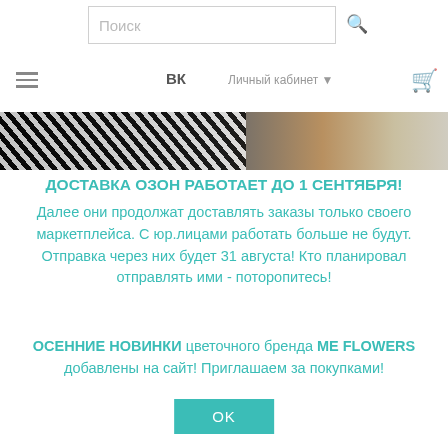Поиск | ВК | Личный кабинет
[Figure (photo): Zebra-print fabric or textile close-up with black and white pattern, partial view of a beige/tan item]
ДОСТАВКА ОЗОН РАБОТАЕТ ДО 1 СЕНТЯБРЯ!
Далее они продолжат доставлять заказы только своего маркетплейса. С юр.лицами работать больше не будут. Отправка через них будет 31 августа! Кто планировал отправлять ими - поторопитесь!
ОСЕННИЕ НОВИНКИ цветочного бренда ME FLOWERS добавлены на сайт! Приглашаем за покупками!